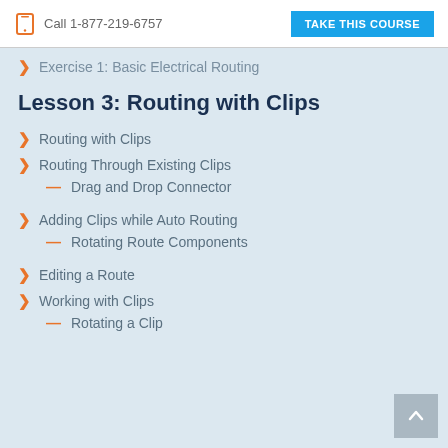Call 1-877-219-6757  TAKE THIS COURSE
Exercise 1: Basic Electrical Routing
Lesson 3: Routing with Clips
Routing with Clips
Routing Through Existing Clips
Drag and Drop Connector
Adding Clips while Auto Routing
Rotating Route Components
Editing a Route
Working with Clips
Rotating a Clip